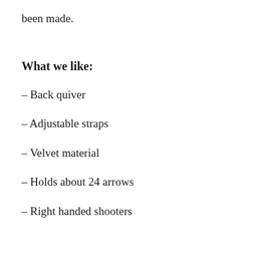been made.
What we like:
– Back quiver
– Adjustable straps
– Velvet material
– Holds about 24 arrows
– Right handed shooters